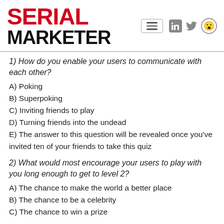SERIAL MARKETER
1) How do you enable your users to communicate with each other?
A) Poking
B) Superpoking
C) Inviting friends to play
D) Turning friends into the undead
E) The answer to this question will be revealed once you've invited ten of your friends to take this quiz
2) What would most encourage your users to play with you long enough to get to level 2?
A) The chance to make the world a better place
B) The chance to be a celebrity
C) The chance to win a prize